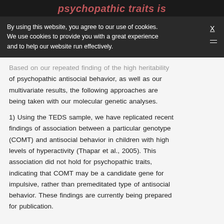psychopathic traits is
By using this website, you agree to our use of cookies. We use cookies to provide you with a great experience and to help our website run effectively.
Based on our repeated finding of the high heritability of psychopathic antisocial behavior, as well as our multivariate results, the following approaches are being taken with our molecular genetic analyses.
1) Using the TEDS sample, we have replicated recent findings of association between a particular genotype (COMT) and antisocial behavior in children with high levels of hyperactivity (Thapar et al., 2005). This association did not hold for psychopathic traits, indicating that COMT may be a candidate gene for impulsive, rather than premeditated type of antisocial behavior. These findings are currently being prepared for publication.